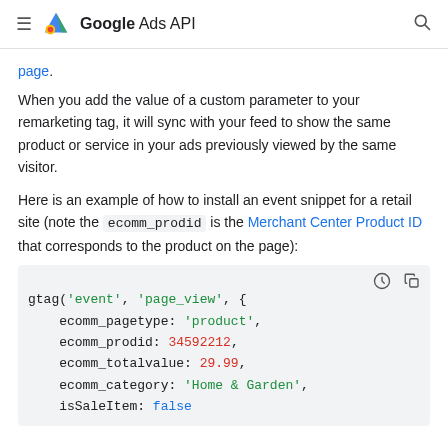Google Ads API
page.
When you add the value of a custom parameter to your remarketing tag, it will sync with your feed to show the same product or service in your ads previously viewed by the same visitor.
Here is an example of how to install an event snippet for a retail site (note the ecomm_prodid is the Merchant Center Product ID that corresponds to the product on the page):
[Figure (screenshot): Code block showing gtag event snippet with ecomm_pagetype: 'product', ecomm_prodid: 34592212, ecomm_totalvalue: 29.99, ecomm_category: 'Home & Garden', isSaleItem: false]